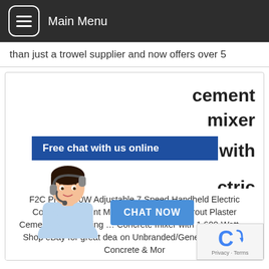Main Menu
than just a trowel supplier and now offers over 5
[Figure (screenshot): Website card showing partial text 'cement mixer ... with ... ctric ... rtar pump -...' partially obscured by a live chat overlay. The overlay shows 'Free chat with us online' header in dark blue and a 'CHAT NOW' button, with an illustrated female customer service agent.]
F2C Pro 1600W Adjustable 7 Speed Handheld Electric Concrete Cement Mixer Thinset Mortar Grout Plaster Cement Mixer Stirring … Concrete mixer with 1,600-Watt … Shop eBay for great deals on Unbranded/Generic Industrial Concrete & Mor